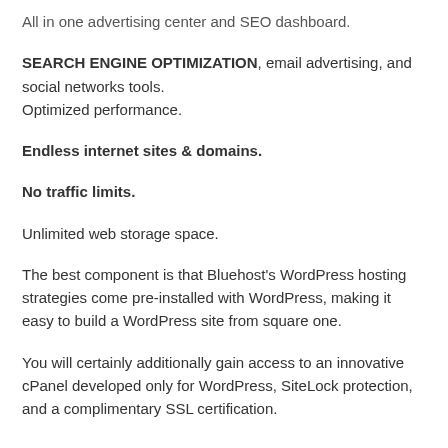All in one advertising center and SEO dashboard.
SEARCH ENGINE OPTIMIZATION, email advertising, and social networks tools.
Optimized performance.
Endless internet sites & domains.
No traffic limits.
Unlimited web storage space.
The best component is that Bluehost's WordPress hosting strategies come pre-installed with WordPress, making it easy to build a WordPress site from square one.
You will certainly additionally gain access to an innovative cPanel developed only for WordPress, SiteLock protection, and a complimentary SSL certification.